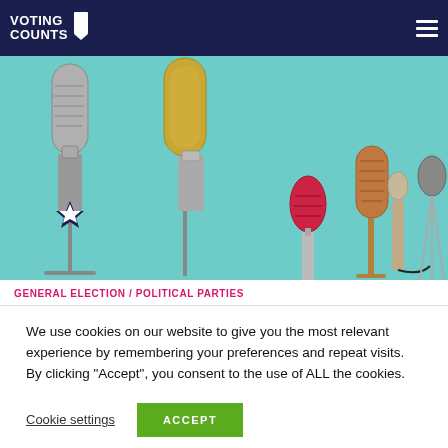VOTING COUNTS
[Figure (photo): Collection of various vintage and modern microphones on stands against a teal/turquoise background]
GENERAL ELECTION / POLITICAL PARTIES
We use cookies on our website to give you the most relevant experience by remembering your preferences and repeat visits. By clicking "Accept", you consent to the use of ALL the cookies.
Cookie settings | ACCEPT